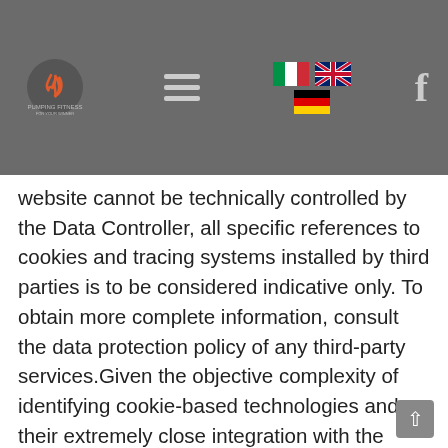Navigation bar with logo, hamburger menu, language flags (Italian, UK, German), and Facebook icon
website cannot be technically controlled by the Data Controller, all specific references to cookies and tracing systems installed by third parties is to be considered indicative only. To obtain more complete information, consult the data protection policy of any third-party services.Given the objective complexity of identifying cookie-based technologies and their extremely close integration with the functioning of internet, you are invited to contact the Data Controller if you require any further information on the use of cookies and on any uses – for example by third parties – that may take place via this website. Full information on the use of cookies by this website is available at the link below: Cookie Policy of the website